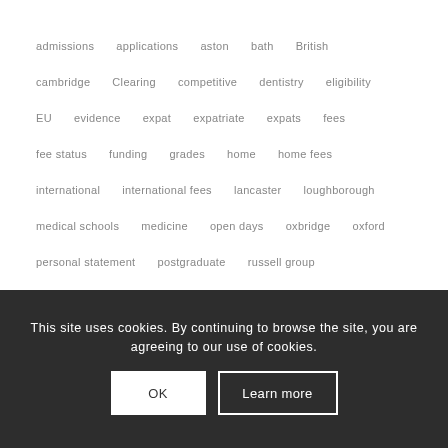admissions   applications   aston   bath   British
cambridge   Clearing   competitive   dentistry   eligibility
EU   evidence   expat   expatriate   expats   fees
fee status   funding   grades   home   home fees
international   international fees   lancaster   loughborough
medical schools   medicine   open days   oxbridge   oxford
personal statement   postgraduate   russell group
sandwich course   students   surrey   tuition fees   UCAS
UCL   uk   universities   university   US   veterinary
This site uses cookies. By continuing to browse the site, you are agreeing to our use of cookies.
OK
Learn more